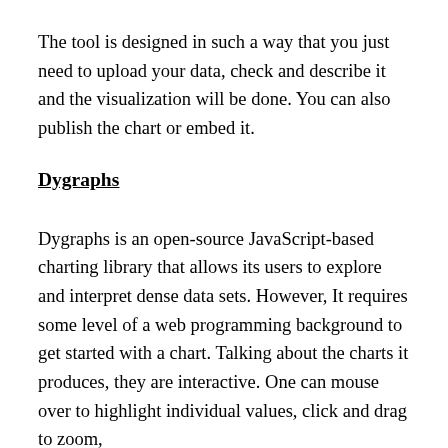The tool is designed in such a way that you just need to upload your data, check and describe it and the visualization will be done. You can also publish the chart or embed it.
Dygraphs
Dygraphs is an open-source JavaScript-based charting library that allows its users to explore and interpret dense data sets. However, It requires some level of a web programming background to get started with a chart. Talking about the charts it produces, they are interactive. One can mouse over to highlight individual values, click and drag to zoom,